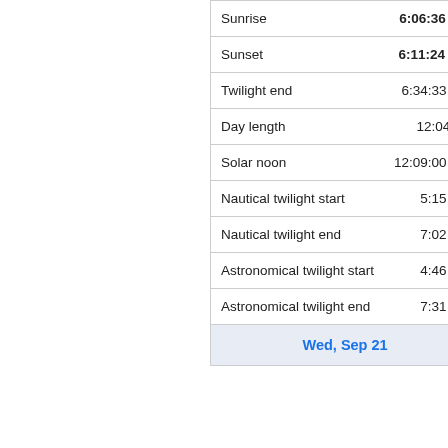| Event | Time |
| --- | --- |
| Sunrise | 6:06:36 am |
| Sunset | 6:11:24 pm |
| Twilight end | 6:34:33 pm |
| Day length | 12:04:48 |
| Solar noon | 12:09:00 pm |
| Nautical twilight start | 5:15 am |
| Nautical twilight end | 7:02 pm |
| Astronomical twilight start | 4:46 am |
| Astronomical twilight end | 7:31 pm |
| Wed, Sep 21 |  |